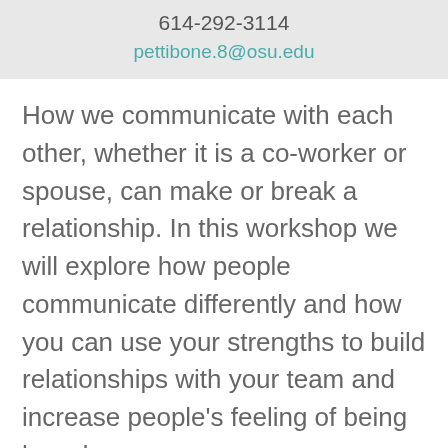614-292-3114
pettibone.8@osu.edu
How we communicate with each other, whether it is a co-worker or spouse, can make or break a relationship. In this workshop we will explore how people communicate differently and how you can use your strengths to build relationships with your team and increase people's feeling of being heard.
Through the workshop participants will learn their communication style and how it interacts with other styles. We will also be